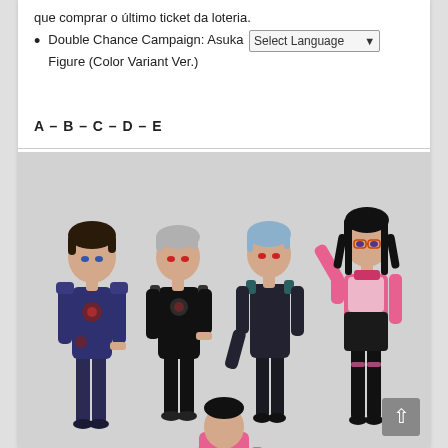que comprar o último ticket da loteria.
Double Chance Campaign: Asuka [Select Language ▾] Figure (Color Variant Ver.)
A – B – C – D – E
[Figure (photo): Four anime-style collectible figures standing side by side: a male figure in dark blue suit, a male figure in black suit, a female figure in dark suit with blue hair, and a female figure in pink and black suit with glasses.]